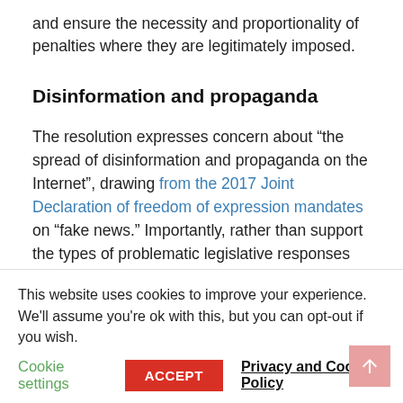and ensure the necessity and proportionality of penalties where they are legitimately imposed.
Disinformation and propaganda
The resolution expresses concern about “the spread of disinformation and propaganda on the Internet”, drawing from the 2017 Joint Declaration of freedom of expression mandates on “fake news.” Importantly, rather than support the types of problematic legislative responses we have seen to disinformation online, it instead calls for increase media literacy and
This website uses cookies to improve your experience. We’ll assume you’re ok with this, but you can opt-out if you wish.
Cookie settings   ACCEPT   Privacy and Cookie Policy